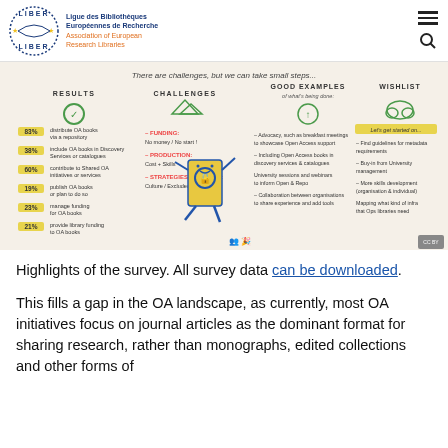LIBER — Ligue des Bibliothèques Européennes de Recherche / Association of European Research Libraries
[Figure (infographic): Hand-drawn infographic with four columns: RESULTS (83% distribute OA books via repository, 38% include OA books in Discovery Services or catalogues, 60% contribute to Shared OA initiatives or services, 19% publish OA books or plan to, 23% manage funding for OA books, 21% provide library funding to OA books), CHALLENGES (Funding: No money/No start!, Production: Cost + Skills, Strategies/Policies: Culture/Excluded), GOOD EXAMPLES of what's being done (Advocacy, including Open Access books in discovery services, University sessions and webinars, Collaboration), WISHLIST (Find guidelines for metadata requirements, Buy-in from University management, More skills development, Mapping what kind of infra/that Ops libraries need). Features a cartoon book character with open access logo.]
Highlights of the survey. All survey data can be downloaded.
This fills a gap in the OA landscape, as currently, most OA initiatives focus on journal articles as the dominant format for sharing research, rather than monographs, edited collections and other forms of